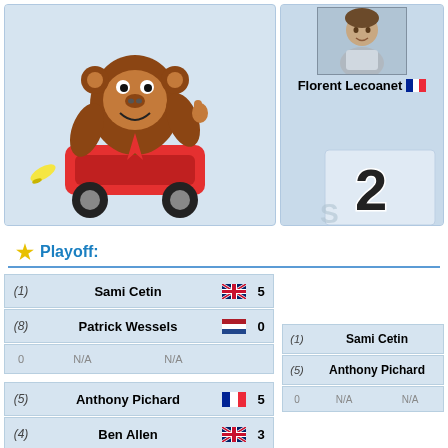[Figure (illustration): Donkey Kong cartoon character riding a kart with banana, in a light blue card panel]
[Figure (photo): Photo of Florent Lecoanet with French flag icon and name label, plus a podium with number 2]
Playoff:
| Seed | Player | Flag | Score |
| --- | --- | --- | --- |
| (1) | Sami Cetin | UK | 5 |
| (8) | Patrick Wessels | NL | 0 |
|  | 0  N/A  N/A |  |  |
| Seed | Player | Flag | Score |
| --- | --- | --- | --- |
| (5) | Anthony Pichard | FR | 5 |
| (4) | Ben Allen | UK | 3 |
|  | 0  N/A  N/A |  |  |
| Seed | Player |
| --- | --- |
| (1) | Sami Cetin |
| (5) | Anthony Pichard |
|  | 0  N/A  N/A |